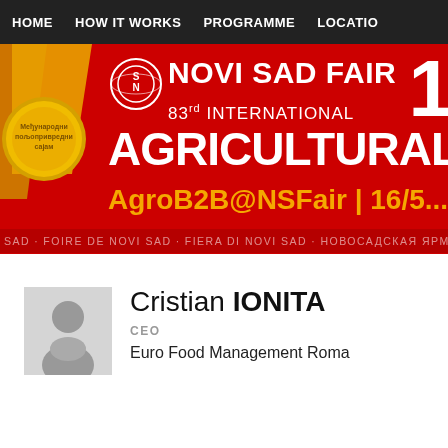HOME | HOW IT WORKS | PROGRAMME | LOCATION
[Figure (screenshot): Novi Sad Fair banner with logo, '83rd INTERNATIONAL AGRICULTURAL F...', 'AgroB2B@NSFair | 16/5...' in orange, red background, gold medal decoration top-left, large white number top-right]
FOIRE DE NOVI SAD · FIERA DI NOVI SAD · НОВОСАДСКАЯ ЯРМАРКА ·
[Figure (photo): Silhouette avatar placeholder icon of a person, gray background]
Cristian IONITA
CEO
Euro Food Management Roma...